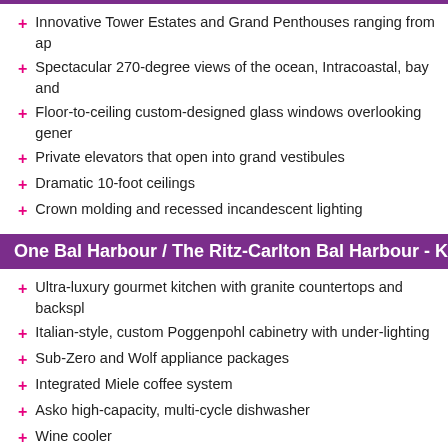Innovative Tower Estates and Grand Penthouses ranging from ap
Spectacular 270-degree views of the ocean, Intracoastal, bay and
Floor-to-ceiling custom-designed glass windows overlooking gener
Private elevators that open into grand vestibules
Dramatic 10-foot ceilings
Crown molding and recessed incandescent lighting
One Bal Harbour / The Ritz-Carlton Bal Harbour - K
Ultra-luxury gourmet kitchen with granite countertops and backspl
Italian-style, custom Poggenpohl cabinetry with under-lighting
Sub-Zero and Wolf appliance packages
Integrated Miele coffee system
Asko high-capacity, multi-cycle dishwasher
Wine cooler
One Bal Harbour / The Ritz-Carlton Bal Harbour - M
Spacious walk-in closet